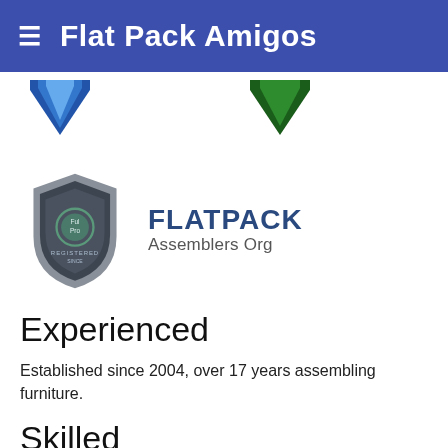≡  Flat Pack Amigos
[Figure (illustration): Two downward-pointing chevron/arrow shapes: one blue on the left, one green on the right, partially cropped]
[Figure (logo): Flatpack Assemblers Org logo: a grey shield badge with REGISTERED text and a circle emblem, next to bold text FLATPACK Assemblers Org]
Experienced
Established since 2004, over 17 years assembling furniture.
Skilled
All our assemblers are trained to the highest standards: how components work - relevant